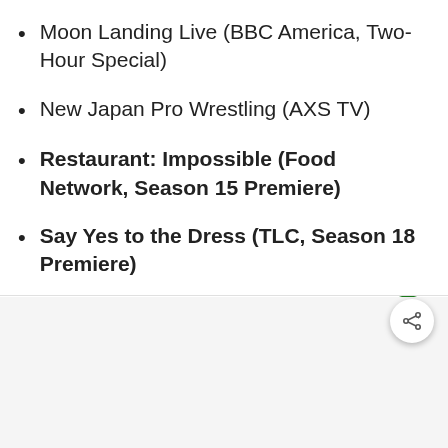Moon Landing Live (BBC America, Two-Hour Special)
New Japan Pro Wrestling (AXS TV)
Restaurant: Impossible (Food Network, Season 15 Premiere)
Say Yes to the Dress (TLC, Season 18 Premiere)
Supersize My Pool (HGTV)